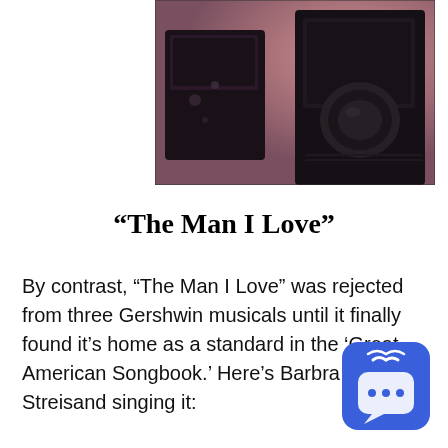[Figure (photo): A blurry dark photograph showing what appears to be music equipment or speakers against a pinkish background]
“The Man I Love”
By contrast, “The Man I Love” was rejected from three Gershwin musicals until it finally found it’s home as a standard in the ‘Great American Songbook.’ Here’s Barbra Streisand singing it:
[Figure (illustration): Blue rounded square chat/podcast icon with signal waves and ellipsis symbol]